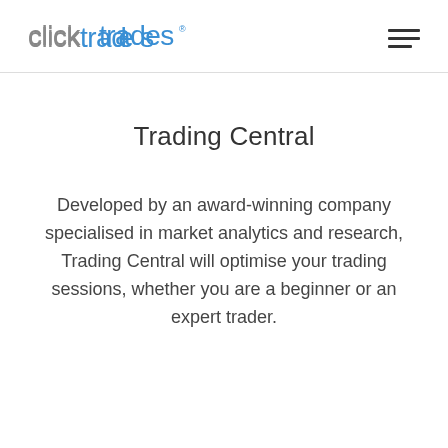clicktrades
Trading Central
Developed by an award-winning company specialised in market analytics and research, Trading Central will optimise your trading sessions, whether you are a beginner or an expert trader.